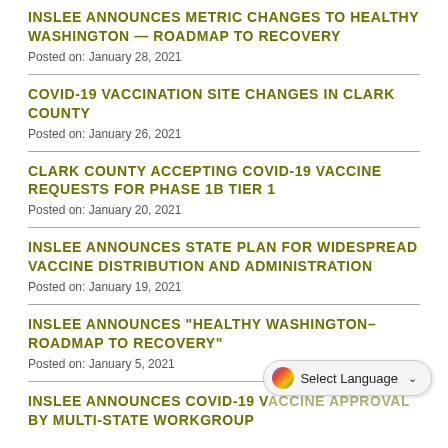INSLEE ANNOUNCES METRIC CHANGES TO HEALTHY WASHINGTON — ROADMAP TO RECOVERY
Posted on: January 28, 2021
COVID-19 VACCINATION SITE CHANGES IN CLARK COUNTY
Posted on: January 26, 2021
CLARK COUNTY ACCEPTING COVID-19 VACCINE REQUESTS FOR PHASE 1B TIER 1
Posted on: January 20, 2021
INSLEE ANNOUNCES STATE PLAN FOR WIDESPREAD VACCINE DISTRIBUTION AND ADMINISTRATION
Posted on: January 19, 2021
INSLEE ANNOUNCES "HEALTHY WASHINGTON– ROADMAP TO RECOVERY"
Posted on: January 5, 2021
INSLEE ANNOUNCES COVID-19 VACCINE APPROVAL BY MULTI-STATE WORKGROUP